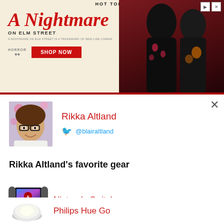[Figure (illustration): Hot Topic advertisement banner for 'A Nightmare on Elm Street' merchandise with two figures in dark clothing and a 'Shop Now' button]
[Figure (photo): Profile photo of Rikka Altland, a young person with glasses smiling, with flowers in the background]
Rikka Altland
@blairaltland
Rikka Altland's favorite gear
[Figure (photo): Nintendo Switch console with red Joy-Con controller]
Nintendo Switch
Philips Hue Go